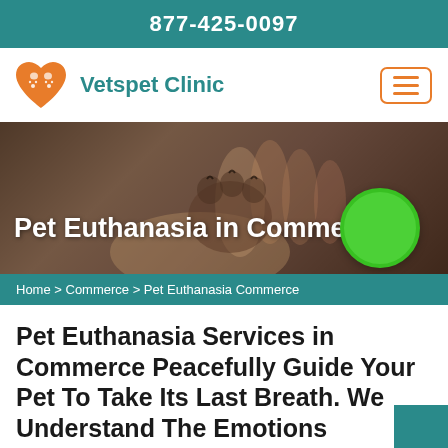877-425-0097
[Figure (logo): Vetspet Clinic logo: orange heart with paw prints and animal silhouette, with teal text 'Vetspet Clinic']
[Figure (photo): Hero banner photo of a human hand holding a dog's paw, dark overlay, with text 'Pet Euthanasia in Commerce' and a green circle button]
Home > Commerce > Pet Euthanasia Commerce
Pet Euthanasia Services in Commerce Peacefully Guide Your Pet To Take Its Last Breath. We Understand The Emotions Involved